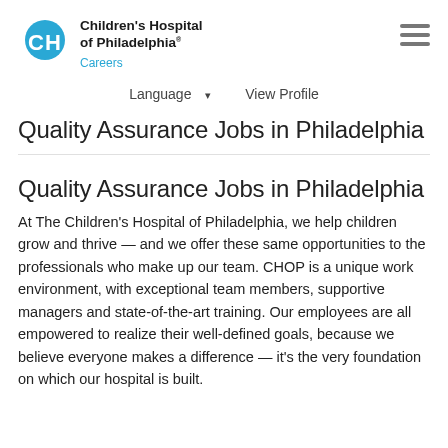Children's Hospital of Philadelphia® Careers
Language ▾   View Profile
Quality Assurance Jobs in Philadelphia
Quality Assurance Jobs in Philadelphia
At The Children's Hospital of Philadelphia, we help children grow and thrive — and we offer these same opportunities to the professionals who make up our team. CHOP is a unique work environment, with exceptional team members, supportive managers and state-of-the-art training. Our employees are all empowered to realize their well-defined goals, because we believe everyone makes a difference — it's the very foundation on which our hospital is built.